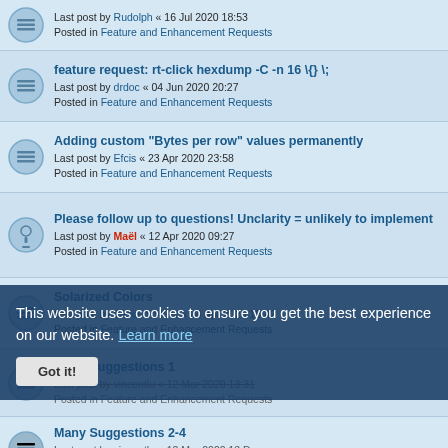Last post by Rudolph « 16 Jul 2020 18:53
Posted in Feature and Enhancement Requests
feature request: rt-click hexdump -C -n 16 \{} \;
Last post by drdoc « 04 Jun 2020 20:27
Posted in Feature and Enhancement Requests
Adding custom "Bytes per row" values permanently
Last post by Efcis « 23 Apr 2020 23:58
Posted in Feature and Enhancement Requests
Please follow up to questions! Unclarity = unlikely to implement
Last post by Maël « 12 Apr 2020 09:27
Posted in Feature and Enhancement Requests
Solarized Colors
Last post by Veniamin-kHz « 04 Apr 2020 15:42
Posted in Feature and Enhancement Requests
Many Suggestions 1
Last post by vincentlu « 12 Mar 2020 13:31
Posted in Feature and Enhancement Requests
Many Suggestions 2-4
Last post by vincentlu « 12 Mar 2020 13:De
Posted in Feature and Enhancement Requests
Many Suggestions 5-7
Last post by vincentlu « 12 Mar 2020 13:28
Posted in Feature and Enhancement Requests
Disk Mode when opening disk Images
Last post by clarkjohnken « 12 Mar 2020 05:21
This website uses cookies to ensure you get the best experience on our website. Learn more
Got it!